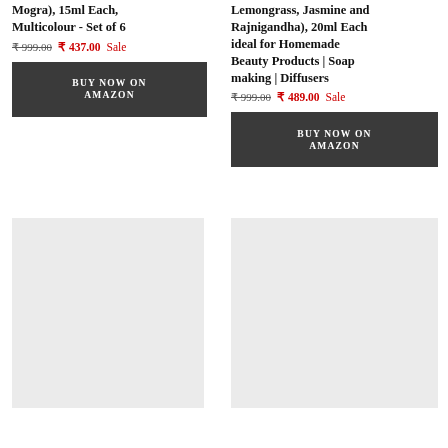Mogra), 15ml Each, Multicolour - Set of 6
₹ 999.00  ₹ 437.00 Sale
BUY NOW ON AMAZON
[Figure (photo): Product image placeholder (light grey box)]
Lemongrass, Jasmine and Rajnigandha), 20ml Each ideal for Homemade Beauty Products | Soap making | Diffusers
₹ 999.00  ₹ 489.00 Sale
BUY NOW ON AMAZON
[Figure (photo): Product image placeholder (light grey box)]